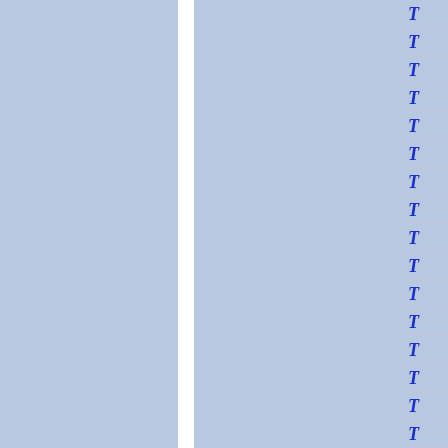[Figure (other): Document page showing two large light-blue panels separated by a white vertical divider on the left portion, and a right-side column with 16 rows each containing the letter T in bold italic dark blue, separated by thin horizontal lines.]